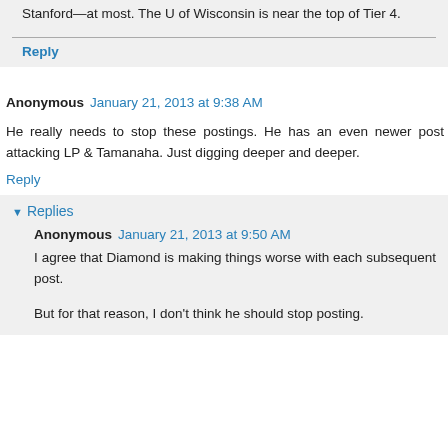Stanford—at most. The U of Wisconsin is near the top of Tier 4.
Reply
Anonymous  January 21, 2013 at 9:38 AM
He really needs to stop these postings. He has an even newer post attacking LP & Tamanaha. Just digging deeper and deeper.
Reply
Replies
Anonymous  January 21, 2013 at 9:50 AM
I agree that Diamond is making things worse with each subsequent post.
But for that reason, I don't think he should stop posting.